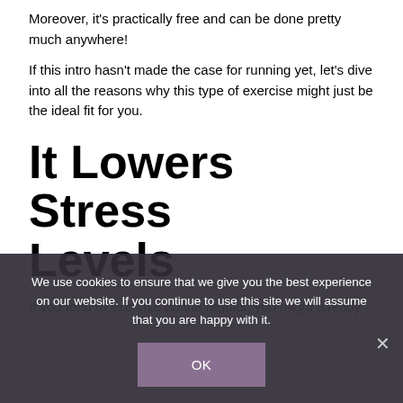Moreover, it's practically free and can be done pretty much anywhere!
If this intro hasn't made the case for running yet, let's dive into all the reasons why this type of exercise might just be the ideal fit for you.
It Lowers Stress Levels
If you tend to exercise on the regular, you might already
We use cookies to ensure that we give you the best experience on our website. If you continue to use this site we will assume that you are happy with it.